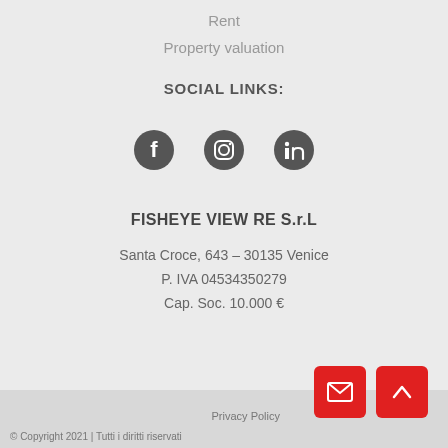Rent
Property valuation
SOCIAL LINKS:
[Figure (illustration): Three social media icons: Facebook, Instagram, LinkedIn]
FISHEYE VIEW RE S.r.L
Santa Croce, 643 – 30135 Venice
P. IVA 04534350279
Cap. Soc. 10.000 €
© Copyright 2021 | Tutti i diritti riservati    Privacy Policy